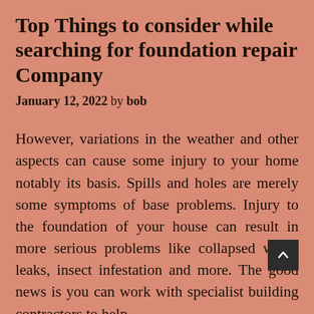Top Things to consider while searching for foundation repair Company
January 12, 2022 by bob
However, variations in the weather and other aspects can cause some injury to your home notably its basis. Spills and holes are merely some symptoms of base problems. Injury to the foundation of your house can result in more serious problems like collapsed walls, leaks, insect infestation and more. The good news is you can work with specialist building contractors to help